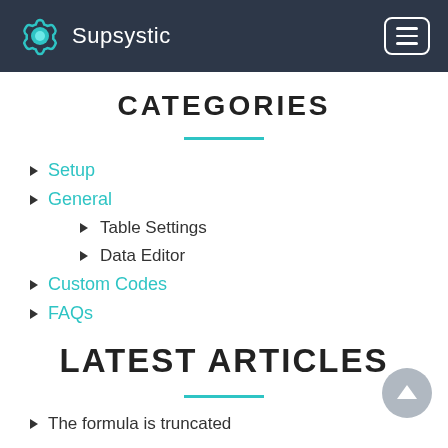Supsystic
CATEGORIES
Setup
General
Table Settings
Data Editor
Custom Codes
FAQs
LATEST ARTICLES
The formula is truncated